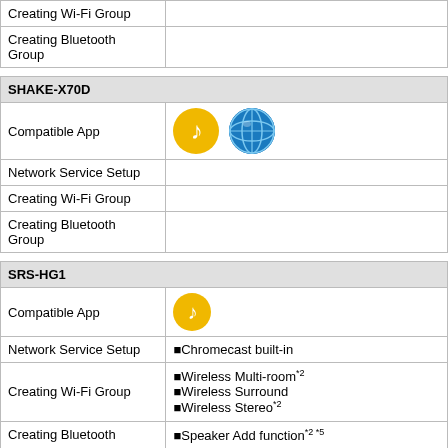| Creating Wi-Fi Group |  |
| Creating Bluetooth Group |  |
| SHAKE-X70D |  |
| --- | --- |
| Compatible App | [music icon] [globe icon] |
| Network Service Setup |  |
| Creating Wi-Fi Group |  |
| Creating Bluetooth Group |  |
| SRS-HG1 |  |
| --- | --- |
| Compatible App | [music icon] |
| Network Service Setup | ●Chromecast built-in |
| Creating Wi-Fi Group | ●Wireless Multi-room*2
●Wireless Surround
●Wireless Stereo*2 |
| Creating Bluetooth | ●Speaker Add function*2 *5 |